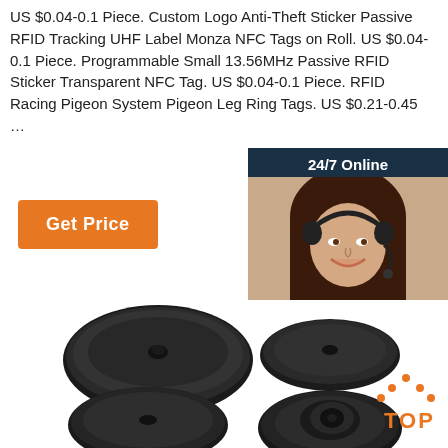US $0.04-0.1 Piece. Custom Logo Anti-Theft Sticker Passive RFID Tracking UHF Label Monza NFC Tags on Roll. US $0.04-0.1 Piece. Programmable Small 13.56MHz Passive RFID Sticker Transparent NFC Tag. US $0.04-0.1 Piece. RFID Racing Pigeon System Pigeon Leg Ring Tags. US $0.21-0.45 …
Get Price
[Figure (photo): Customer service representative / chat panel with '24/7 Online' label, photo of smiling woman with headset, 'Click here for free chat!' text, and QUOTATION button]
[Figure (photo): Four black circular disc-shaped RFID tags/tokens shown from different angles on white background, with a TOP badge in lower right]